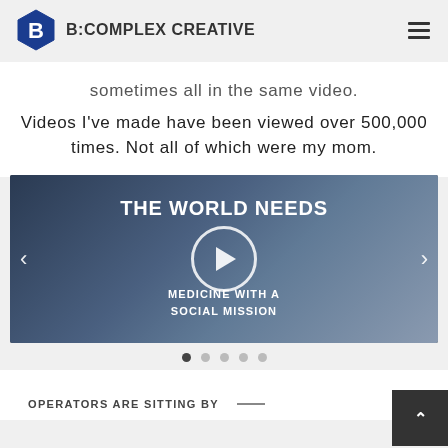B:COMPLEX CREATIVE
sometimes all in the same video.
Videos I've made have been viewed over 500,000 times. Not all of which were my mom.
[Figure (screenshot): Video slideshow panel with dark blue background. Shows 'THE WORLD NEEDS' as headline and 'MEDICINE WITH A SOCIAL MISSION' as subtitle. Play button circle in center. Left and right navigation arrows visible. Five pagination dots below with first dot active.]
OPERATORS ARE SITTING BY